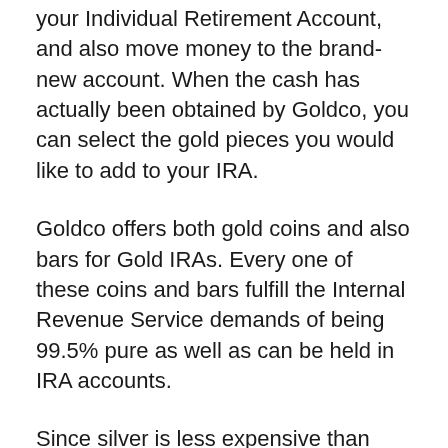your Individual Retirement Account, and also move money to the brand-new account. When the cash has actually been obtained by Goldco, you can select the gold pieces you would like to add to your IRA.
Goldco offers both gold coins and also bars for Gold IRAs. Every one of these coins and bars fulfill the Internal Revenue Service demands of being 99.5% pure as well as can be held in IRA accounts.
Since silver is less expensive than gold, you'll be able to include even more to your Priceless Metals IRA for the very same rate you 'd pay to buy just a couple of gold coins or bars.